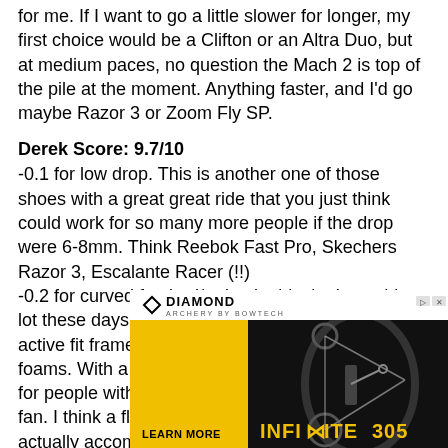for me. If I want to go a little slower for longer, my first choice would be a Clifton or an Altra Duo, but at medium paces, no question the Mach 2 is top of the pile at the moment. Anything faster, and I'd go maybe Razor 3 or Zoom Fly SP.
Derek Score: 9.7/10
-0.1 for low drop. This is another one of those shoes with a great great ride that you just think could work for so many more people if the drop were 6-8mm. Think Reebok Fast Pro, Skechers Razor 3, Escalante Racer (!!) -0.2 for curved footbed/ raised midsole. I see this a lot these days. Hoka did it first of course with their active fit frame design, but those were super soft foams. With a firmer material it can cause problems for people with lower arches. I personally am not a fan. I think a flat footbed works just fine and actually accommodates a wider range of feet, and using
[Figure (photo): Diamond Archery advertisement featuring the Infinite 305 compound bow on a dark background with yellow and white branding elements and a 'Learn More' call to action.]